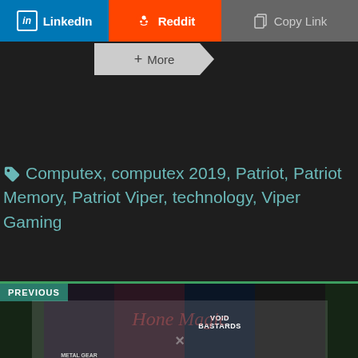[Figure (screenshot): Social share buttons row: LinkedIn (blue), Reddit (orange), Copy Link (grey), and a More button below]
Computex, computex 2019, Patriot, Patriot Memory, Patriot Viper, technology, Viper Gaming
[Figure (screenshot): PREVIOUS navigation bar with game thumbnails including Metal Gear and Void Bastards]
[Figure (screenshot): Watermark overlay with script text and X mark at bottom of page]